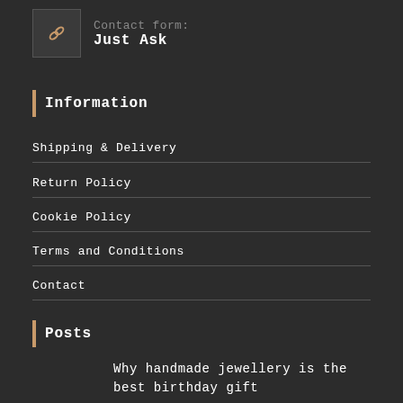Contact form: Just Ask
Information
Shipping & Delivery
Return Policy
Cookie Policy
Terms and Conditions
Contact
Posts
Why handmade jewellery is the best birthday gift